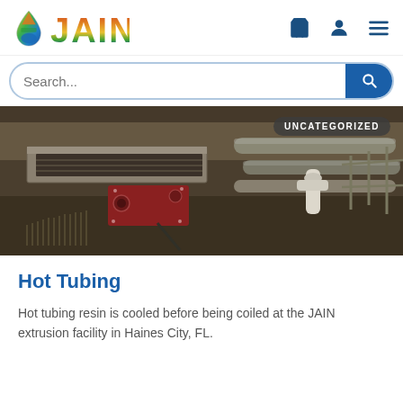[Figure (logo): JAIN logo with a water droplet icon and colorful JAIN text in red, orange, yellow, green, blue stripes]
[Figure (screenshot): Search bar with placeholder text 'Search...' and a blue search button with magnifying glass icon]
[Figure (photo): Industrial factory photo showing hot tubing extrusion equipment with pipes and machinery in a warehouse setting. Badge reads UNCATEGORIZED.]
Hot Tubing
Hot tubing resin is cooled before being coiled at the JAIN extrusion facility in Haines City, FL.